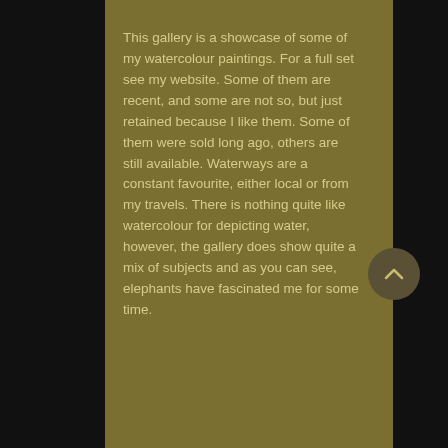This gallery is a showcase of some of my watercolour paintings. For a full set see my website. Some of them are recent, and some are not so, but just retained because I like them. Some of them were sold long ago, others are still available. Waterways are a constant favourite, either local or from my travels. There is nothing quite like watercolour for depicting water, however, the gallery does show quite a mix of subjects and as you can see, elephants have fascinated me for some time.
[Figure (other): Circular scroll-up button with a caret/chevron up icon]